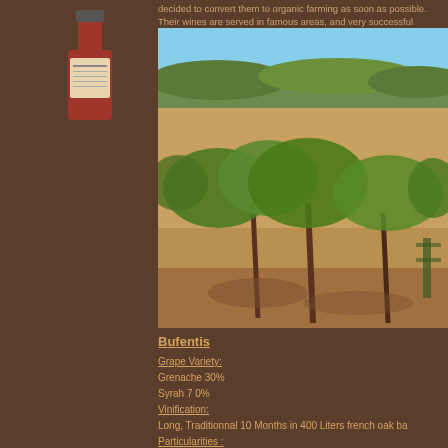[Figure (photo): Wine bottle with label, partially visible at top of left brown sidebar column]
decided to convert them to organic farming as soon as possible. Their wines are served in famous areas, and very successful
[Figure (photo): Vineyard rows with low grapevines, dry rocky soil, scrubby hills in background under blue sky]
Bufentis
Grape Variety:
Grenache 30%
Syrah 7 0%
Vinification:
Long, Traditionnal 10 Months in 400 Liters french oak ba
Particularities :
Natural wine, organic certified, few SO2
Tasting notes :
Powerful and generous wine with marmalade flavours